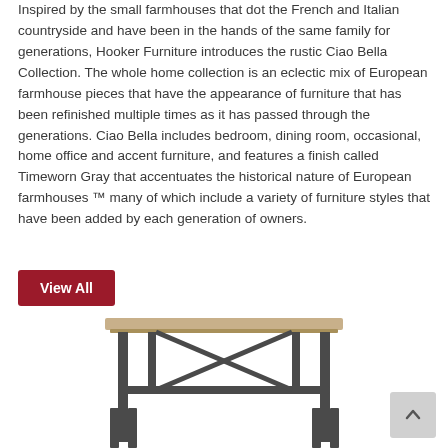Inspired by the small farmhouses that dot the French and Italian countryside and have been in the hands of the same family for generations, Hooker Furniture introduces the rustic Ciao Bella Collection. The whole home collection is an eclectic mix of European farmhouse pieces that have the appearance of furniture that has been refinished multiple times as it has passed through the generations. Ciao Bella includes bedroom, dining room, occasional, home office and accent furniture, and features a finish called Timeworn Gray that accentuates the historical nature of European farmhouses ™ many of which include a variety of furniture styles that have been added by each generation of owners.
View All
[Figure (photo): A wooden table with dark metal legs and a horizontal stretcher bar, photographed from the front against a white background. Only the top portion and legs are visible, cropped at the bottom.]